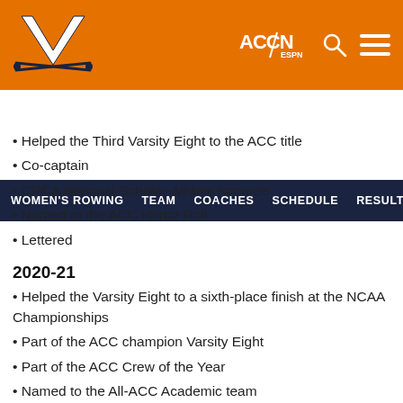[Figure (logo): University of Virginia header with UVA V-sabre logo on orange background, ACCN ESPN logo, search icon, and menu icon]
WOMEN'S ROWING   TEAM   COACHES   SCHEDULE   RESULTS
Helped the Third Varsity Eight to the ACC title
Co-captain
CRCA National Scholar-Athlete honoree
Named to the ACC Honor Roll
Lettered
2020-21
Helped the Varsity Eight to a sixth-place finish at the NCAA Championships
Part of the ACC champion Varsity Eight
Part of the ACC Crew of the Year
Named to the All-ACC Academic team
Earned CRCA/Pocock Second-Team All-America honors
Named to the ACC Honor Roll